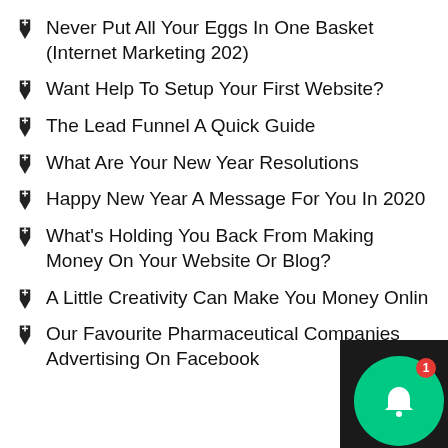Never Put All Your Eggs In One Basket (Internet Marketing 202)
Want Help To Setup Your First Website?
The Lead Funnel A Quick Guide
What Are Your New Year Resolutions
Happy New Year A Message For You In 2020
What's Holding You Back From Making Money On Your Website Or Blog?
A Little Creativity Can Make You Money Online
Our Favourite Pharmaceutical Companies Advertising On Facebook